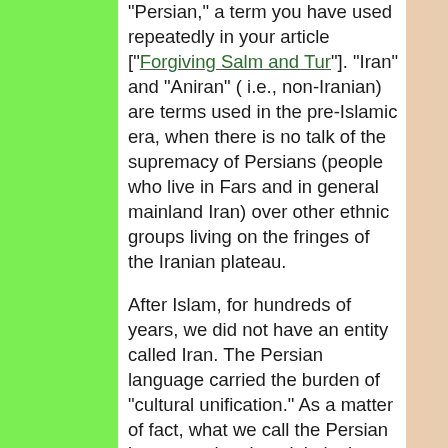"Persian," a term you have used repeatedly in your article ["Forgiving Salm and Tur"]. "Iran" and "Aniran" ( i.e., non-Iranian) are terms used in the pre-Islamic era, when there is no talk of the supremacy of Persians (people who live in Fars and in general mainland Iran) over other ethnic groups living on the fringes of the Iranian plateau.
After Islam, for hundreds of years, we did not have an entity called Iran. The Persian language carried the burden of "cultural unification." As a matter of fact, what we call the Persian language, has its origin in the Khorasani accent of the old Pahlavi